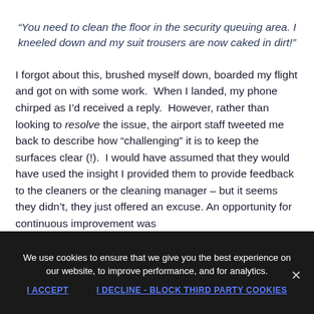“You need to clean the floor in the security queuing area. I kneeled down and my suit trousers are now caked in dirt!”
I forgot about this, brushed myself down, boarded my flight and got on with some work.  When I landed, my phone chirped as I’d received a reply.  However, rather than looking to resolve the issue, the airport staff tweeted me back to describe how “challenging” it is to keep the surfaces clear (!).  I would have assumed that they would have used the insight I provided them to provide feedback to the cleaners or the cleaning manager – but it seems they didn’t, they just offered an excuse. An opportunity for continuous improvement was
We use cookies to ensure that we give you the best experience on our website, to improve performance, and for analytics.
I ACCEPT
I DECLINE - BLOCK THIRD PARTY COOKIES